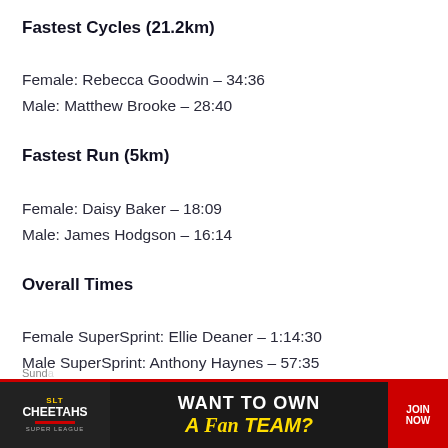Fastest Cycles (21.2km)
Female: Rebecca Goodwin – 34:36
Male: Matthew Brooke – 28:40
Fastest Run (5km)
Female: Daisy Baker – 18:09
Male: James Hodgson – 16:14
Overall Times
Female SuperSprint: Ellie Deaner – 1:14:30
Male SuperSprint: Anthony Haynes – 57:35
Female Sprint: Molly Savill – 1:10:00
Male Sprint: Andrew Horsfall-Turner – 59:51
[Figure (photo): Advertisement banner: SLT Cheetahs logo on left, 'WANT TO OWN A FAN TEAM?' text in center, 'JOIN NOW' button on right with red background]